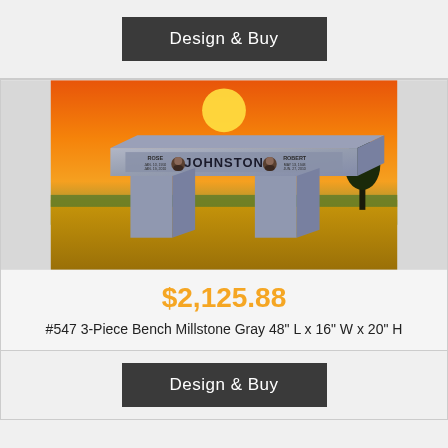Design & Buy
[Figure (photo): A granite memorial bench (3-piece, Millstone Gray) displayed against a scenic background with wheat fields and a sunset sky. The bench top is engraved with 'JOHNSTON' as the family name, with ROSE and ROBERT on each side with dates and portrait photos.]
$2,125.88
#547 3-Piece Bench Millstone Gray 48" L x 16" W x 20" H
Design & Buy